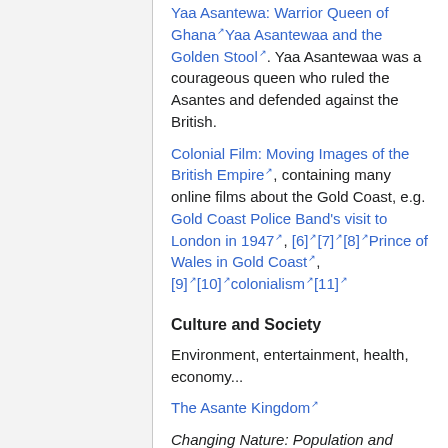Yaa Asantewa: Warrior Queen of GhanaYaa Asantewaa and the Golden Stool. Yaa Asantewaa was a courageous queen who ruled the Asantes and defended against the British.
Colonial Film: Moving Images of the British Empire, containing many online films about the Gold Coast, e.g. Gold Coast Police Band's visit to London in 1947, [6][7][8]Prince of Wales in Gold Coast,[9][10]colonialism[11]
Culture and Society
Environment, entertainment, health, economy...
The Asante Kingdom
Changing Nature: Population and Environment at a Crossroads. A view of